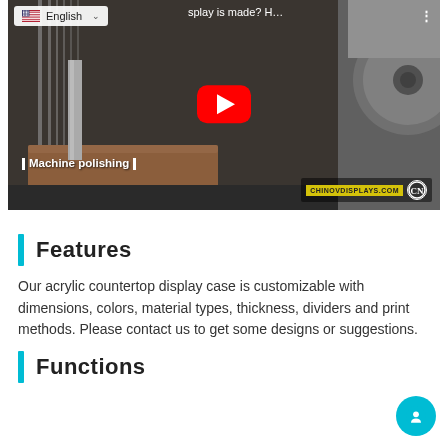[Figure (screenshot): YouTube video thumbnail showing machine polishing process with a red play button overlay. Top-left shows language selector with English and US flag. Top-right shows video title partially visible: 'splay is made? H...'. Bottom-left text reads 'Machine polishing'. Bottom-right shows CHINOVDISPLAYS.COM watermark with CN logo.]
Features
Our acrylic countertop display case is customizable with dimensions, colors, material types, thickness, dividers and print methods. Please contact us to get some designs or suggestions.
Functions